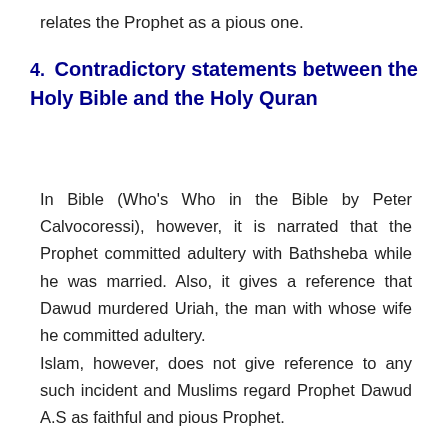relates the Prophet as a pious one.
4. Contradictory statements between the Holy Bible and the Holy Quran
In Bible (Who's Who in the Bible by Peter Calvocoressi), however, it is narrated that the Prophet committed adultery with Bathsheba while he was married. Also, it gives a reference that Dawud murdered Uriah, the man with whose wife he committed adultery.
Islam, however, does not give reference to any such incident and Muslims regard Prophet Dawud A.S as faithful and pious Prophet.